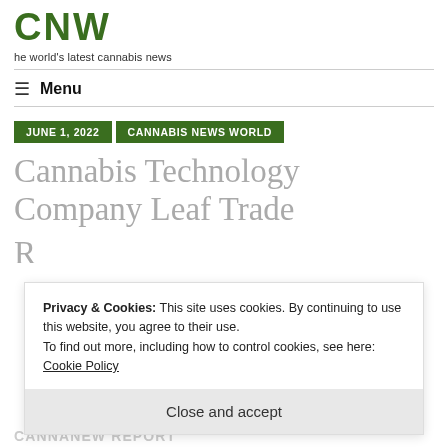he world's latest cannabis news
≡ Menu
JUNE 1, 2022   CANNABIS NEWS WORLD
Cannabis Technology Company Leaf Trade
Privacy & Cookies: This site uses cookies. By continuing to use this website, you agree to their use.
To find out more, including how to control cookies, see here: Cookie Policy
Close and accept
CANNANEW REPORT